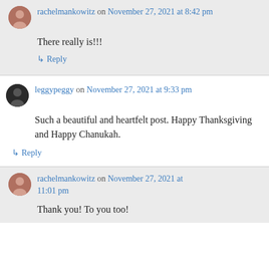rachelmankowitz on November 27, 2021 at 8:42 pm
There really is!!!
↳ Reply
leggypeggy on November 27, 2021 at 9:33 pm
Such a beautiful and heartfelt post. Happy Thanksgiving and Happy Chanukah.
↳ Reply
rachelmankowitz on November 27, 2021 at 11:01 pm
Thank you! To you too!